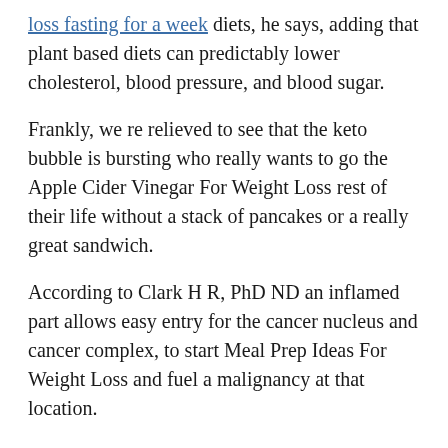loss fasting for a week diets, he says, adding that plant based diets can predictably lower cholesterol, blood pressure, and blood sugar.
Frankly, we re relieved to see that the keto bubble is bursting who really wants to go the Apple Cider Vinegar For Weight Loss rest of their life without a stack of pancakes or a really great sandwich.
According to Clark H R, PhD ND an inflamed part allows easy entry for the cancer nucleus and cancer complex, to start Meal Prep Ideas For Weight Loss and fuel a malignancy at that location.
It was developed to .
Kelly Cossar Lost 75